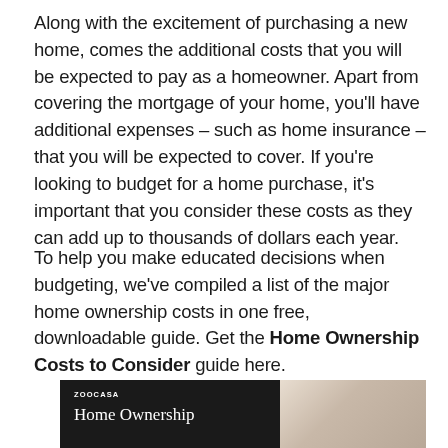Along with the excitement of purchasing a new home, comes the additional costs that you will be expected to pay as a homeowner. Apart from covering the mortgage of your home, you'll have additional expenses – such as home insurance – that you will be expected to cover. If you're looking to budget for a home purchase, it's important that you consider these costs as they can add up to thousands of dollars each year.
To help you make educated decisions when budgeting, we've compiled a list of the major home ownership costs in one free, downloadable guide. Get the Home Ownership Costs to Consider guide here.
[Figure (illustration): A Zoocasa branded guide cover showing 'Home Ownership' text on a dark background on the left side, with a photo of a home-related object on a light beige background on the right side.]